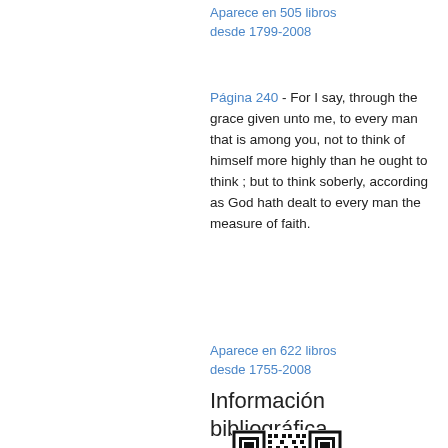Aparece en 505 libros desde 1799-2008
Página 240 - For I say, through the grace given unto me, to every man that is among you, not to think of himself more highly than he ought to think ; but to think soberly, according as God hath dealt to every man the measure of faith.
Aparece en 622 libros desde 1755-2008
Información bibliográfica
[Figure (other): QR code for bibliographic information]